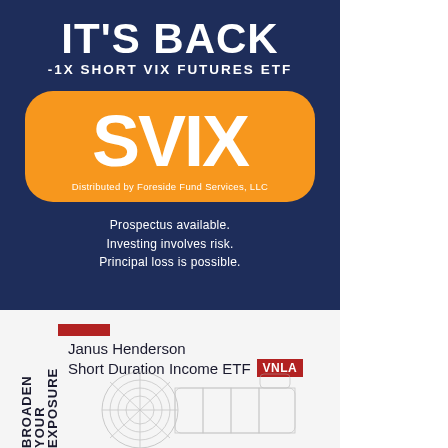IT'S BACK
-1X SHORT VIX FUTURES ETF
[Figure (logo): Orange rounded rectangle badge with large white text 'SVIX' and subtitle 'Distributed by Foreside Fund Services, LLC']
Prospectus available. Investing involves risk. Principal loss is possible.
[Figure (infographic): Janus Henderson Short Duration Income ETF VNLA advertisement with red bar, vertical text 'BROADEN YOUR EXPOSURE', and wireframe camera image]